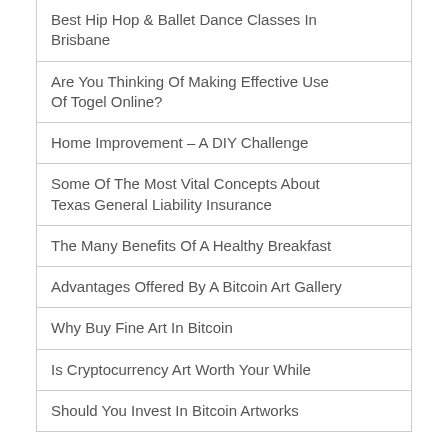Best Hip Hop & Ballet Dance Classes In Brisbane
Are You Thinking Of Making Effective Use Of Togel Online?
Home Improvement – A DIY Challenge
Some Of The Most Vital Concepts About Texas General Liability Insurance
The Many Benefits Of A Healthy Breakfast
Advantages Offered By A Bitcoin Art Gallery
Why Buy Fine Art In Bitcoin
Is Cryptocurrency Art Worth Your While
Should You Invest In Bitcoin Artworks